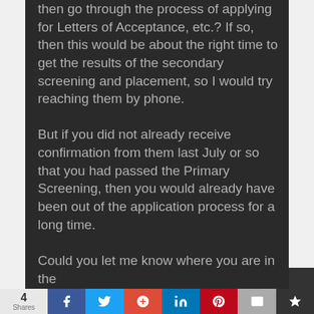then go through the process of applying for Letters of Acceptance, etc.? If so, then this would be about the right time to get the results of the secondary screening and placement, so I would try reaching them by phone.

But if you did not already receive confirmation from them last July or so that you had passed the Primary Screening, then you would already have been out of the application process for a long time.

Could you let me know where you are in the
4 Shares | Facebook | Twitter | Google+ | LinkedIn | Pinterest | Email | Crown